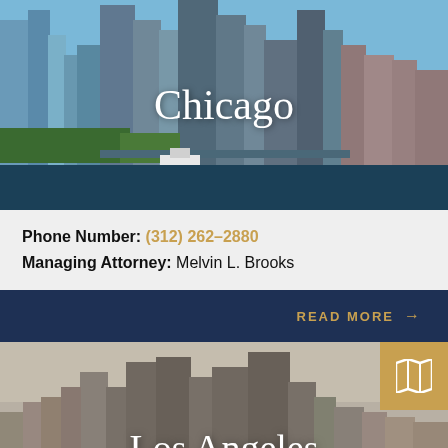[Figure (photo): Chicago skyline cityscape with skyscrapers, river, and bridge. 'Chicago' text overlaid in white serif font.]
Phone Number: (312) 262–2880
Managing Attorney: Melvin L. Brooks
READ MORE →
[Figure (photo): Los Angeles skyline cityscape with downtown skyscrapers. 'Los Angeles' text overlaid in white serif font. Gold map icon in top-right corner.]